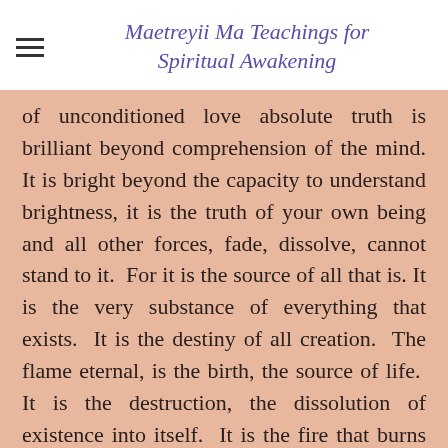Maetreyii Ma Teachings for Spiritual Awakening
of unconditioned love absolute truth is brilliant beyond comprehension of the mind. It is bright beyond the capacity to understand brightness, it is the truth of your own being and all other forces, fade, dissolve, cannot stand to it.  For it is the source of all that is. It is the very substance of everything that exists.  It is the destiny of all creation.  The flame eternal, is the birth, the source of life.  It is the destruction, the dissolution of existence into itself.  It is the fire that burns away darkness.  It is the flame that heals all wounds.  It is the love which